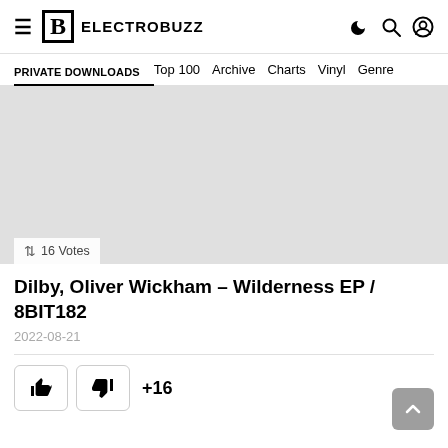ELECTROBUZZ — PRIVATE DOWNLOADS | Top 100 | Archive | Charts | Vinyl | Genre
[Figure (photo): Gray placeholder album art image with vote badge showing 16 Votes]
Dilby, Oliver Wickham – Wilderness EP / 8BIT182
2022-08-21
+16